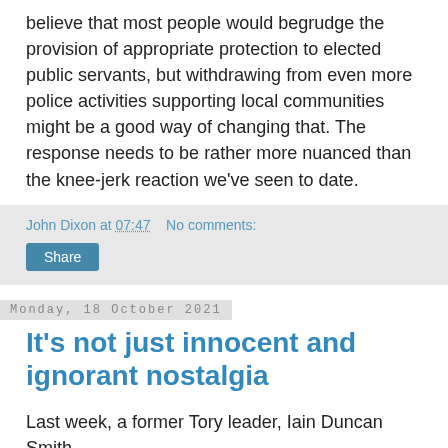believe that most people would begrudge the provision of appropriate protection to elected public servants, but withdrawing from even more police activities supporting local communities might be a good way of changing that. The response needs to be rather more nuanced than the knee-jerk reaction we've seen to date.
John Dixon at 07:47   No comments:
Monday, 18 October 2021
It's not just innocent and ignorant nostalgia
Last week, a former Tory leader, Iain Duncan Smith,